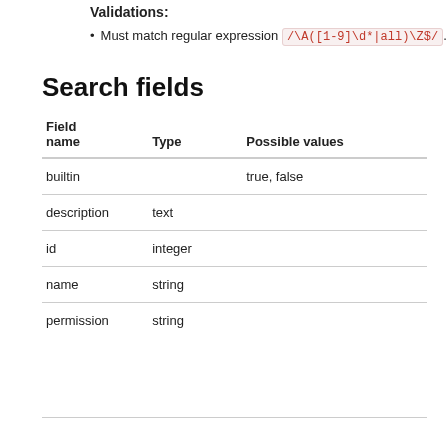Validations:
Must match regular expression /\A([1-9]\d*|all)\Z$/.
Search fields
| Field name | Type | Possible values |
| --- | --- | --- |
| builtin |  | true, false |
| description | text |  |
| id | integer |  |
| name | string |  |
| permission | string |  |